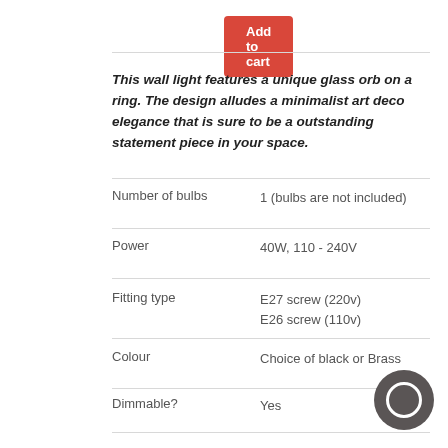[Figure (other): Red 'Add to cart' button]
This wall light features a unique glass orb on a ring. The design alludes a minimalist art deco elegance that is sure to be a outstanding statement piece in your space.
| Specification | Value |
| --- | --- |
| Number of bulbs | 1 (bulbs are not included) |
| Power | 40W, 110 - 240V |
| Fitting type | E27 screw (220v)
E26 screw (110v) |
| Colour | Choice of black or Brass |
| Dimmable? | Yes |
| Illuminated area | 10 - 15m2 (107ft2 - 160ft2) |